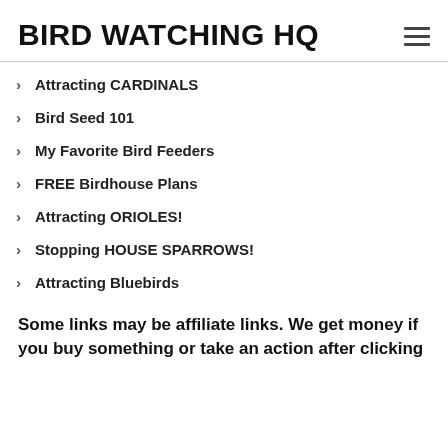BIRD WATCHING HQ
Attracting CARDINALS
Bird Seed 101
My Favorite Bird Feeders
FREE Birdhouse Plans
Attracting ORIOLES!
Stopping HOUSE SPARROWS!
Attracting Bluebirds
Some links may be affiliate links. We get money if you buy something or take an action after clicking